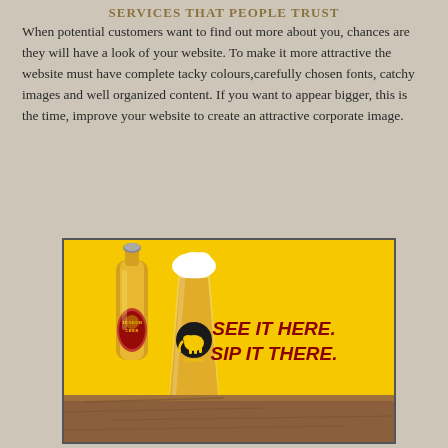SERVICES THAT PEOPLE TRUST
When potential customers want to find out more about you, chances are they will have a look of your website. To make it more attractive the website must have complete tacky colours,carefully chosen fonts, catchy images and well organized content. If you want to appear bigger, this is the time, improve your website to create an attractive corporate image.
[Figure (photo): Tusker Cider advertisement showing a beer bottle and a glass of beer on a yellow background with the text 'SEE IT HERE. SIP IT THERE.' in bold red letters, with a wooden table surface at the bottom.]